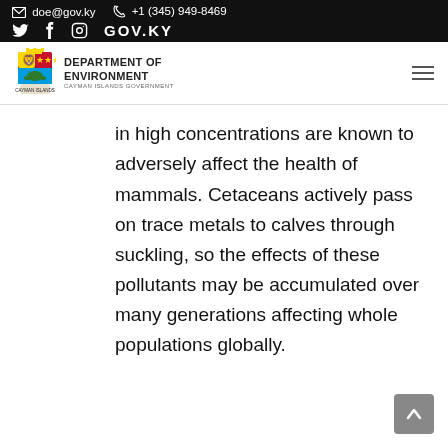✉ doe@gov.ky   ✆ +1 (345) 949-8469
🐦 f ⊙ GOV.KY
[Figure (logo): Cayman Islands Government crest with Department of Environment text]
in high concentrations are known to adversely affect the health of mammals. Cetaceans actively pass on trace metals to calves through suckling, so the effects of these pollutants may be accumulated over many generations affecting whole populations globally.